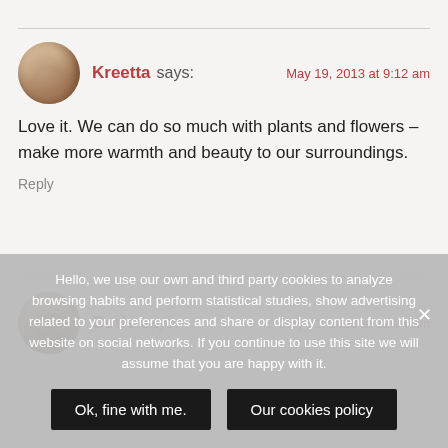Kreetta says: May 19, 2013 at 9:12 am
Love it. We can do so much with plants and flowers – make more warmth and beauty to our surroundings.
Reply
Doris says: May 21, 2013 at 12:04 am
Hello, we use our own and third party cookies to analyze browsing habits and perform statistical studies, show advertising related to your preferences and share or display content from this website on social networks. If you continue to use this site we will assume that you are happy with it.